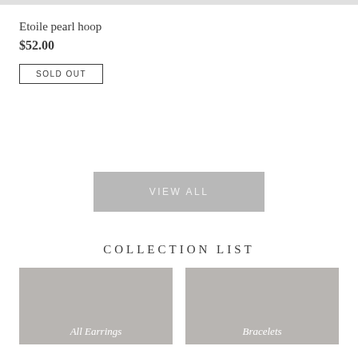Etoile pearl hoop
$52.00
SOLD OUT
VIEW ALL
COLLECTION LIST
[Figure (photo): Gray placeholder image for All Earrings collection]
All Earrings
[Figure (photo): Gray placeholder image for Bracelets collection]
Bracelets